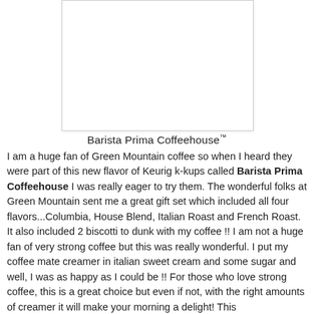[Figure (photo): White rectangular product image placeholder with light border and shadow]
Barista Prima Coffeehouse™
I am a huge fan of Green Mountain coffee so when I heard they were part of this new flavor of Keurig k-kups called Barista Prima Coffeehouse I was really eager to try them. The wonderful folks at Green Mountain sent me a great gift set which included all four flavors...Columbia, House Blend, Italian Roast and French Roast. It also included 2 biscotti to dunk with my coffee !! I am not a huge fan of very strong coffee but this was really wonderful. I put my coffee mate creamer in italian sweet cream and some sugar and well, I was as happy as I could be !! For those who love strong coffee, this is a great choice but even if not, with the right amounts of creamer it will make your morning a delight! This